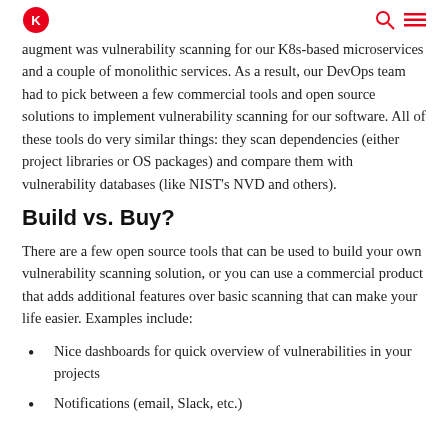augment was vulnerability scanning for our K8s-based microservices and a couple of monolithic services. As a result, our DevOps team had to pick between a few commercial tools and open source solutions to implement vulnerability scanning for our software. All of these tools do very similar things: they scan dependencies (either project libraries or OS packages) and compare them with vulnerability databases (like NIST's NVD and others).
Build vs. Buy?
There are a few open source tools that can be used to build your own vulnerability scanning solution, or you can use a commercial product that adds additional features over basic scanning that can make your life easier. Examples include:
Nice dashboards for quick overview of vulnerabilities in your projects
Notifications (email, Slack, etc.)